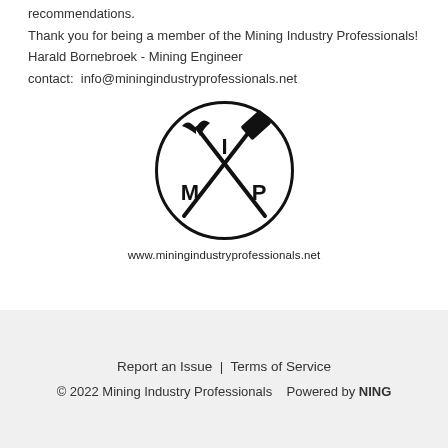recommendations.
Thank you for being a member of the Mining Industry Professionals!
Harald Bornebroek - Mining Engineer
contact:  info@miningindustryprofessionals.net
[Figure (logo): Mining Industry Professionals circular logo with crossed pickaxe and hammer tools, letters M, I, P inside circle]
www.miningindustryprofessionals.net
Report an Issue  |  Terms of Service
© 2022 Mining Industry Professionals   Powered by NING